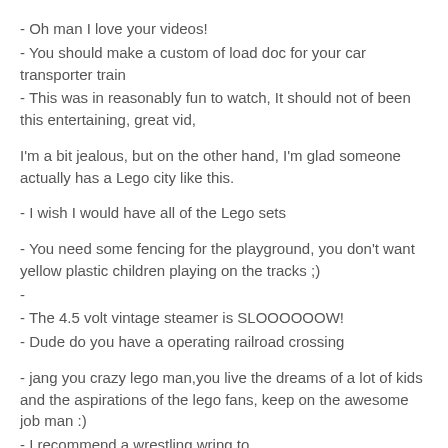- Oh man I love your videos!
- You should make a custom of load doc for your car transporter train
- This was in reasonably fun to watch, It should not of been this entertaining, great vid,
I'm a bit jealous, but on the other hand, I'm glad someone actually has a Lego city like this.
- I wish I would have all of the Lego sets
- You need some fencing for the playground, you don't want yellow plastic children playing on the tracks ;)
-
- The 4.5 volt vintage steamer is SLOOOOOOW!
- Dude do you have a operating railroad crossing
- jang you crazy lego man,you live the dreams of a lot of kids and the aspirations of the lego fans, keep on the awesome job man :)
- I recommend a wrestling wring to
- Jangawesome I recommend the pentagon you can build whatever pops in mind to build inside 😊